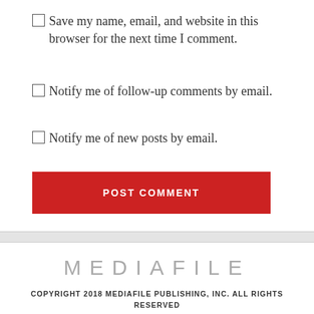Save my name, email, and website in this browser for the next time I comment.
Notify me of follow-up comments by email.
Notify me of new posts by email.
POST COMMENT
MEDIAFILE
COPYRIGHT 2018 MEDIAFILE PUBLISHING, INC. ALL RIGHTS RESERVED